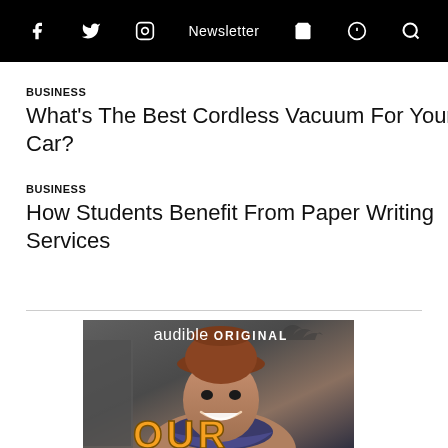f  Twitter  Instagram  Newsletter  Cart  Podcast  Search
BUSINESS
What's The Best Cordless Vacuum For Your Car?
BUSINESS
How Students Benefit From Paper Writing Services
[Figure (photo): Audible Original advertisement featuring a smiling man wearing a brown hat and colorful scarf, with 'audible ORIGINAL' text at top and 'OUR' in large illuminated letters at bottom.]